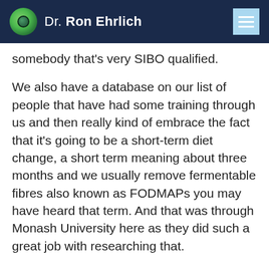Dr. Ron Ehrlich
somebody that's very SIBO qualified.
We also have a database on our list of people that have had some training through us and then really kind of embrace the fact that it's going to be a short-term diet change, a short term meaning about three months and we usually remove fermentable fibres also known as FODMAPs you may have heard that term. And that was through Monash University here as they did such a great job with researching that.